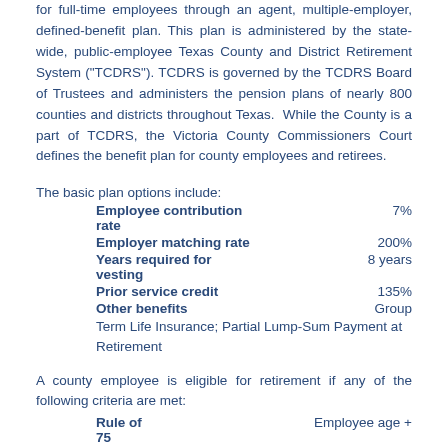for full-time employees through an agent, multiple-employer, defined-benefit plan. This plan is administered by the state-wide, public-employee Texas County and District Retirement System ("TCDRS"). TCDRS is governed by the TCDRS Board of Trustees and administers the pension plans of nearly 800 counties and districts throughout Texas. While the County is a part of TCDRS, the Victoria County Commissioners Court defines the benefit plan for county employees and retirees.
The basic plan options include:
| Plan Option | Value |
| --- | --- |
| Employee contribution rate | 7% |
| Employer matching rate | 200% |
| Years required for vesting | 8 years |
| Prior service credit | 135% |
| Other benefits | Group Term Life Insurance; Partial Lump-Sum Payment at Retirement |
A county employee is eligible for retirement if any of the following criteria are met:
| Rule | Description |
| --- | --- |
| Rule of 75 | Employee age + |